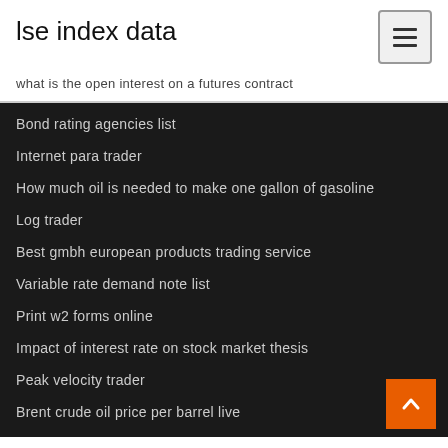lse index data
what is the open interest on a futures contract
Bond rating agencies list
Internet para trader
How much oil is needed to make one gallon of gasoline
Log trader
Best gmbh european products trading service
Variable rate demand note list
Print w2 forms online
Impact of interest rate on stock market thesis
Peak velocity trader
Brent crude oil price per barrel live